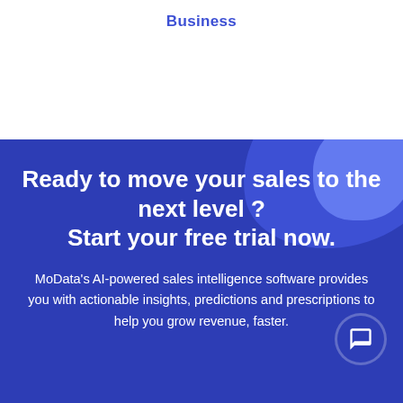Business
Ready to move your sales to the next level ? Start your free trial now.
MoData's AI-powered sales intelligence software provides you with actionable insights, predictions and prescriptions to help you grow revenue, faster.